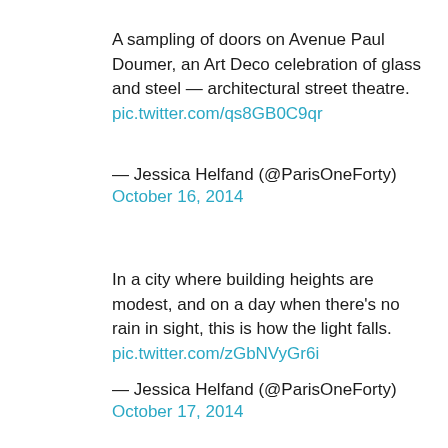A sampling of doors on Avenue Paul Doumer, an Art Deco celebration of glass and steel — architectural street theatre.
pic.twitter.com/qs8GB0C9qr
— Jessica Helfand (@ParisOneForty)
October 16, 2014
In a city where building heights are modest, and on a day when there's no rain in sight, this is how the light falls.
pic.twitter.com/zGbNVyGr6i
— Jessica Helfand (@ParisOneForty)
October 17, 2014